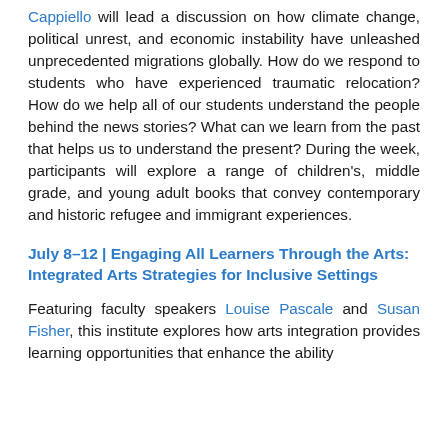Cappiello will lead a discussion on how climate change, political unrest, and economic instability have unleashed unprecedented migrations globally. How do we respond to students who have experienced traumatic relocation? How do we help all of our students understand the people behind the news stories? What can we learn from the past that helps us to understand the present? During the week, participants will explore a range of children's, middle grade, and young adult books that convey contemporary and historic refugee and immigrant experiences.
July 8–12 | Engaging All Learners Through the Arts: Integrated Arts Strategies for Inclusive Settings
Featuring faculty speakers Louise Pascale and Susan Fisher, this institute explores how arts integration provides learning opportunities that enhance the ability